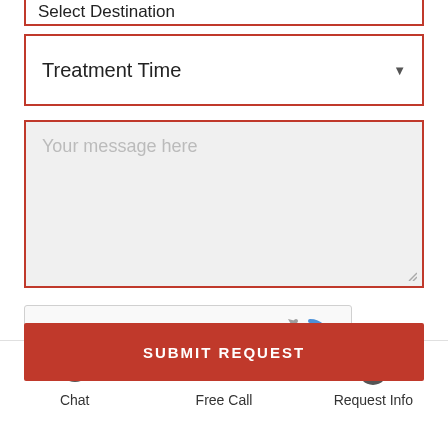[Figure (screenshot): Partial 'Select Destination' dropdown field with red border, cropped at top]
[Figure (screenshot): Treatment Time dropdown field with red border and dropdown arrow]
[Figure (screenshot): Your message here text area with red border and light gray background]
[Figure (screenshot): reCAPTCHA widget with checkbox, 'I'm not a robot' label, reCAPTCHA logo, Privacy and Terms links]
SUBMIT REQUEST
Chat
Free Call
Request Info